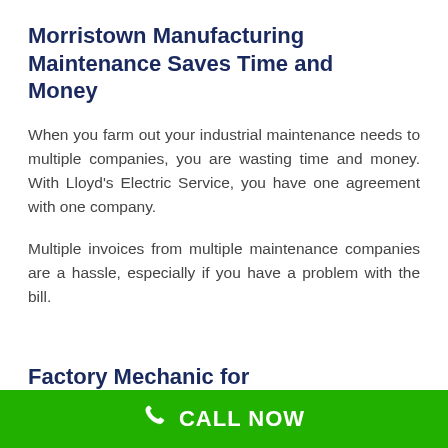Morristown Manufacturing Maintenance Saves Time and Money
When you farm out your industrial maintenance needs to multiple companies, you are wasting time and money. With Lloyd's Electric Service, you have one agreement with one company.
Multiple invoices from multiple maintenance companies are a hassle, especially if you have a problem with the bill.
Factory Mechanic for
CALL NOW